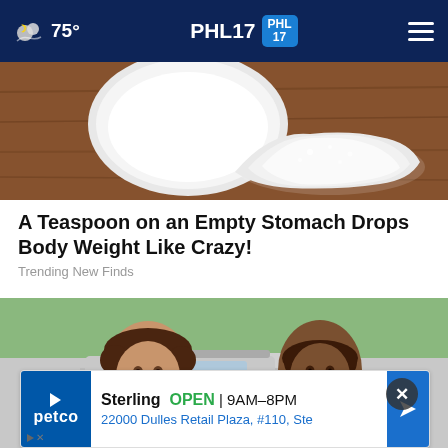75° PHL17 [PHL 17 logo]
[Figure (photo): Close-up photo of a white spoon and a pile of white powder/sugar on a wooden surface]
A Teaspoon on an Empty Stomach Drops Body Weight Like Crazy!
Trending New Finds
[Figure (photo): Two smiling women standing outside near a car, with trees and vehicles in the background]
[Figure (other): Advertisement banner for Petco Sterling store: OPEN | 9AM-8PM, 22000 Dulles Retail Plaza, #110, Ste]